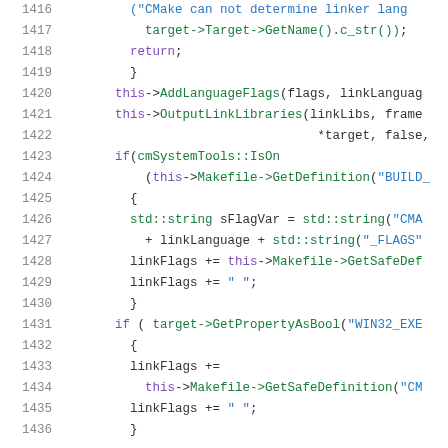[Figure (screenshot): Source code listing (C++) showing lines 1416-1436 with syntax highlighting. Line numbers in gray on the left, code in green, purple, and blue on the right.]